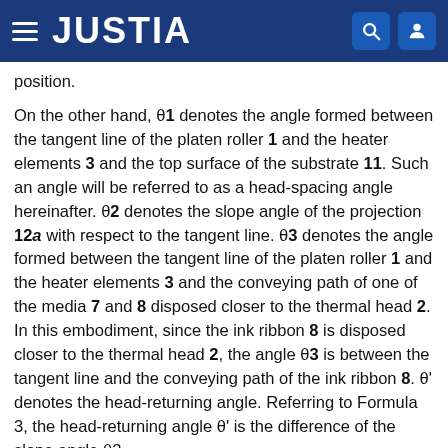JUSTIA
position.
On the other hand, θ1 denotes the angle formed between the tangent line of the platen roller 1 and the heater elements 3 and the top surface of the substrate 11. Such an angle will be referred to as a head-spacing angle hereinafter. θ2 denotes the slope angle of the projection 12a with respect to the tangent line. θ3 denotes the angle formed between the tangent line of the platen roller 1 and the heater elements 3 and the conveying path of one of the media 7 and 8 disposed closer to the thermal head 2. In this embodiment, since the ink ribbon 8 is disposed closer to the thermal head 2, the angle θ3 is between the tangent line and the conveying path of the ink ribbon 8. θ' denotes the head-returning angle. Referring to Formula 3, the head-returning angle θ' is the difference of the slope angle θ2